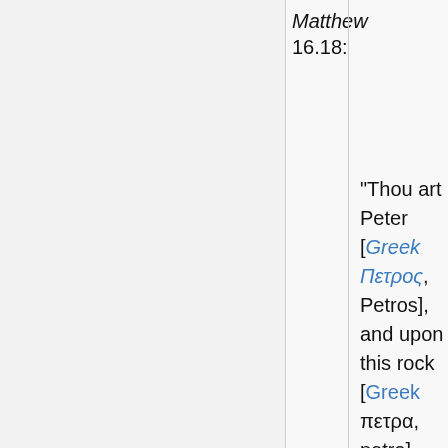Matthew 16.18:
"Thou art Peter [Greek Πετρος, Petros], and upon this rock [Greek πετρα, petra]